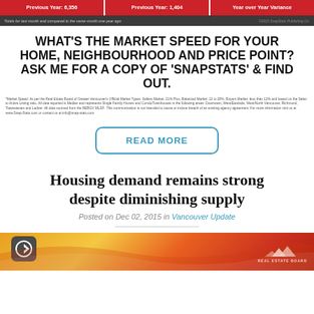Previous Year: 6,356 | Previous Year: 1,404 | Year over Year Variance
Totals for last month and compared to the same month one year ago | ©2015 SnapStats Publishing Co.
WHAT'S THE MARKET SPEED FOR YOUR HOME, NEIGHBOURHOOD AND PRICE POINT? ASK ME FOR A COPY OF 'SNAPSTATS' & FIND OUT.
*Market Speed: As per the Real Estate Board of Greater Vancouver's Official Market Types: Sellers Market: 21% Plus, Balanced Market: 12 to 20%, Buyers Market: less than 12% and based on the Sales to Active Listing ratio. All data reported is Median and represents Single Family Homes and Condo/Townhouses in the following areas: Downtown, West/Eastside, West/North Vancouver, Richmond, Tsawwassen and Ladner. All data sourced from the REBGV MLS®. This communication is not intended to cause or induce breach of an existing agency agreement. For more information visit us at www.Snap-Stats.com or contact us at info@snap-stats.com
READ MORE
Housing demand remains strong despite diminishing supply
Posted on Dec 02, 2015 in Vancouver Update